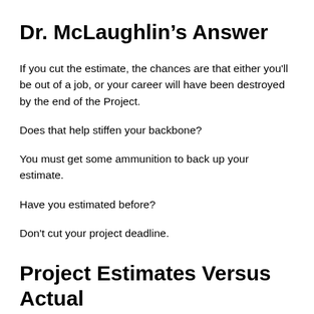Dr. McLaughlin's Answer
If you cut the estimate, the chances are that either you'll be out of a job, or your career will have been destroyed by the end of the Project.
Does that help stiffen your backbone?
You must get some ammunition to back up your estimate.
Have you estimated before?
Don't cut your project deadline.
Project Estimates Versus Actual